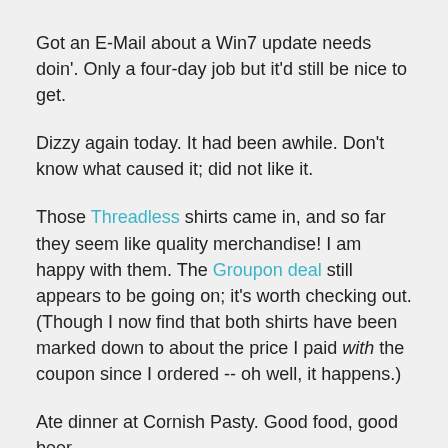Got an E-Mail about a Win7 update needs doin'. Only a four-day job but it'd still be nice to get.
Dizzy again today. It had been awhile. Don't know what caused it; did not like it.
Those Threadless shirts came in, and so far they seem like quality merchandise! I am happy with them. The Groupon deal still appears to be going on; it's worth checking out. (Though I now find that both shirts have been marked down to about the price I paid with the coupon since I ordered -- oh well, it happens.)
Ate dinner at Cornish Pasty. Good food, good beer.
Arrow has turned out to be a surprisingly good show, but man the dialogue on tonight's was overwrought. Geoff Johns? Oh.